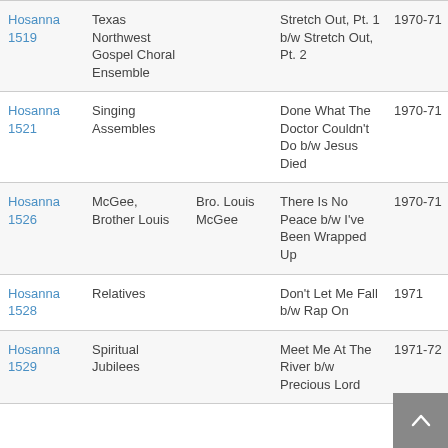| Label | Artist | Artist2 | Title | Year |
| --- | --- | --- | --- | --- |
| Hosanna 1519 | Texas Northwest Gospel Choral Ensemble |  | Stretch Out, Pt. 1 b/w Stretch Out, Pt. 2 | 1970-71 |
| Hosanna 1521 | Singing Assembles |  | Done What The Doctor Couldn't Do b/w Jesus Died | 1970-71 |
| Hosanna 1526 | McGee, Brother Louis | Bro. Louis McGee | There Is No Peace b/w I've Been Wrapped Up | 1970-71 |
| Hosanna 1528 | Relatives |  | Don't Let Me Fall b/w Rap On | 1971 |
| Hosanna 1529 | Spiritual Jubilees |  | Meet Me At The River b/w Precious Lord | 1971-72 |